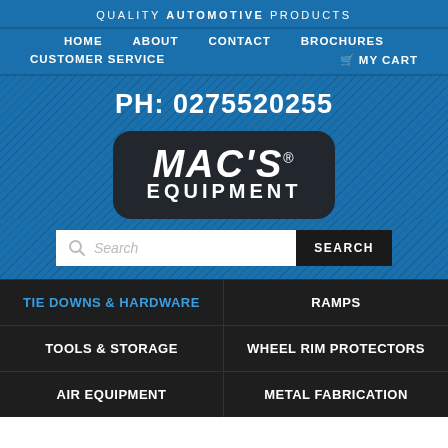QUALITY AUTOMOTIVE PRODUCTS
HOME | ABOUT | CONTACT | BROCHURES
CUSTOMER SERVICE | MY CART
PH: 0275520255
[Figure (logo): MAC'S EQUIPMENT logo — bold italic white text on blue rounded rectangle badge]
Search
TIE DOWNS & HARDWARE
RAMPS
TOOLS & STORAGE
WHEEL RIM PROTECTORS
AIR EQUIPMENT
METAL FABRICATION